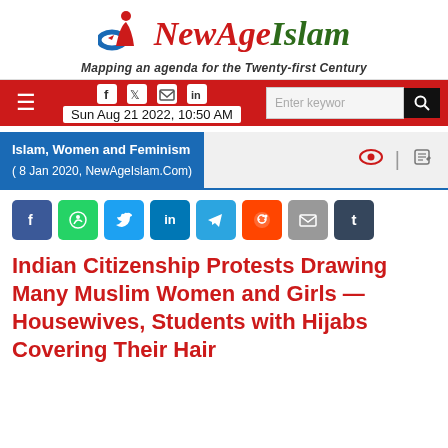[Figure (logo): NewAgeIslam logo with crescent/figure icon and tagline 'Mapping an agenda for the Twenty-first Century']
Sun Aug 21 2022, 10:50 AM
Islam, Women and Feminism
( 8 Jan 2020, NewAgeIslam.Com)
[Figure (infographic): Social share buttons row: Facebook, WhatsApp, Twitter, LinkedIn, Telegram, Reddit, Email, Tumblr]
Indian Citizenship Protests Drawing Many Muslim Women and Girls — Housewives, Students with Hijabs Covering Their Hair